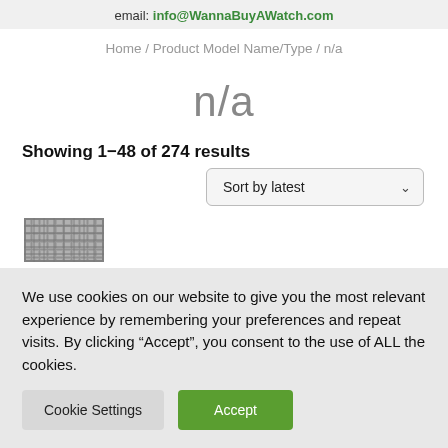email: info@WannaBuyAWatch.com
Home / Product Model Name/Type / n/a
n/a
Showing 1–48 of 274 results
[Figure (screenshot): Sort by latest dropdown selector]
[Figure (photo): Watch bracelet/strap thumbnail image]
We use cookies on our website to give you the most relevant experience by remembering your preferences and repeat visits. By clicking “Accept”, you consent to the use of ALL the cookies.
Cookie Settings | Accept